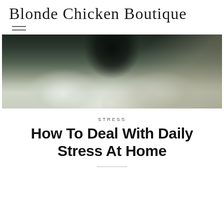Blonde Chicken Boutique
[Figure (photo): Close-up overhead photo of a fluffy cat with dark and white fur, photographed from above against a dark background]
STRESS
How To Deal With Daily Stress At Home